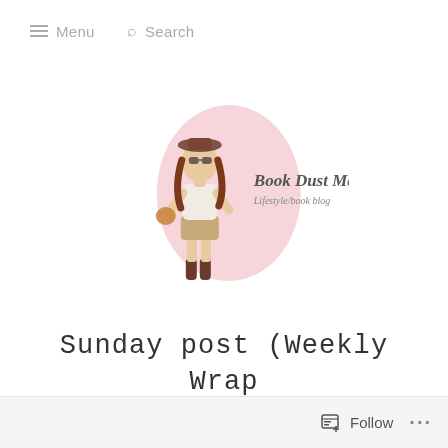Menu   Search
[Figure (logo): Book Dust Magic lifestyle/book blog logo: a cartoon girl with brown hair wearing a white outfit and boots, standing in front of a pink oval shape, with the text 'Book Dust Magic' and 'lifestyle/book blog' written next to her.]
Sunday post (Weekly Wrap Up Dec. 5th - 11th)
Follow ...